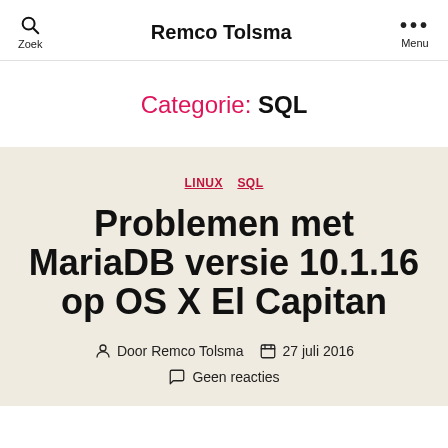Remco Tolsma
Categorie: SQL
LINUX  SQL
Problemen met MariaDB versie 10.1.16 op OS X El Capitan
Door Remco Tolsma   27 juli 2016   Geen reacties